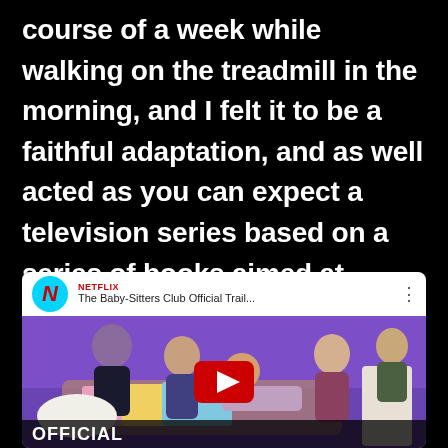course of a week while walking on the treadmill in the morning, and I felt it to be a faithful adaptation, and as well acted as you can expect a television series based on a series of books aimed at preteen girls could possibly be.
[Figure (screenshot): Embedded YouTube video player showing Netflix's The Baby-Sitters Club Official Trailer. The thumbnail shows several young girls lounging on a couch in front of a purple wall, with a large YouTube play button overlay. The bottom of the image shows 'OFFICIAL' text. The video header shows the Netflix logo and title 'The Baby-Sitters Club Official Trail...']